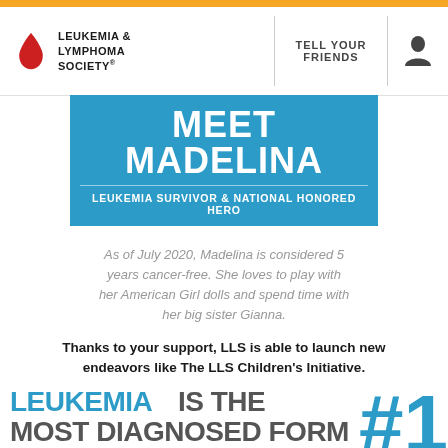LEUKEMIA & LYMPHOMA SOCIETY | TELL YOUR FRIENDS
[Figure (infographic): Meet Madelina banner: blue background with large white bold text 'MEET MADELINA' and subtitle 'LEUKEMIA SURVIVOR & NATIONAL HONORED HERO']
As of July 2020, Madelina is considered 5 years cancer-free. She loves to play with her American Girl dolls and spend time with her big sister Gianna.
Thanks to your support, LLS is able to launch new endeavors like The LLS Children's Initiative.
[Figure (infographic): Infographic text: LEUKEMIA IS THE #1 MOST DIAGNOSED FORM OF CHILDHOOD CANCER — in blue, gray, and gold bold uppercase letters]